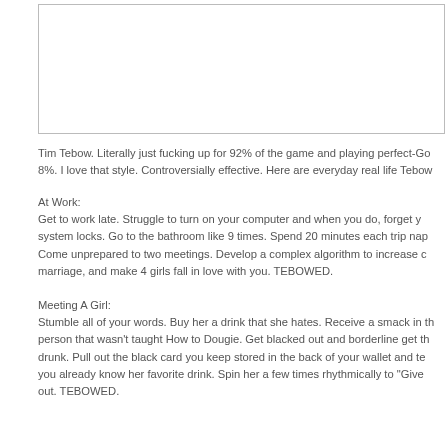[Figure (other): Empty bordered box, likely a cropped image placeholder at the top of the page]
Tim Tebow. Literally just fucking up for 92% of the game and playing perfect-Go 8%. I love that style. Controversially effective. Here are everyday real life Tebow
At Work:
Get to work late. Struggle to turn on your computer and when you do, forget y system locks. Go to the bathroom like 9 times. Spend 20 minutes each trip nap Come unprepared to two meetings. Develop a complex algorithm to increase c marriage, and make 4 girls fall in love with you. TEBOWED.
Meeting A Girl:
Stumble all of your words. Buy her a drink that she hates. Receive a smack in th person that wasn't taught How to Dougie. Get blacked out and borderline get th drunk. Pull out the black card you keep stored in the back of your wallet and te you already know her favorite drink. Spin her a few times rhythmically to "Give out. TEBOWED.